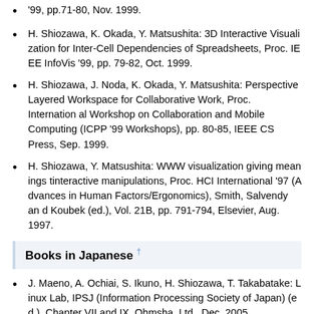'99, pp.71-80, Nov. 1999.
H. Shiozawa, K. Okada, Y. Matsushita: 3D Interactive Visualization for Inter-Cell Dependencies of Spreadsheets, Proc. IEEE InfoVis '99, pp. 79-82, Oct. 1999.
H. Shiozawa, J. Noda, K. Okada, Y. Matsushita: Perspective Layered Workspace for Collaborative Work, Proc. International Workshop on Collaboration and Mobile Computing (ICPP '99 Workshops), pp. 80-85, IEEE CS Press, Sep. 1999.
H. Shiozawa, Y. Matsushita: WWW visualization giving meanings tinteractive manipulations, Proc. HCI International '97 (Advances in Human Factors/Ergonomics), Smith, Salvendy and Koubek (ed.), Vol. 21B, pp. 791-794, Elsevier, Aug. 1997.
Books in Japanese †
J. Maeno, A. Ochiai, S. Ikuno, H. Shiozawa, T. Takabatake: Linux Lab, IPSJ (Information Processing Society of Japan) (ed.), Chapter VII and IX, Ohmsha, Ltd., Dec. 2005.
K. Okada, H. Shiozawa, H. Shigeno, T. Yashiro: C/C++ Workbook, Soft Research Center Inc., Mar. 2004.
K. Okada, S. Nishimura, H. Kuzuoka, M. Nakatani, H. Shiozawa: Human Computer Interaction, IPSJ (Information Process…